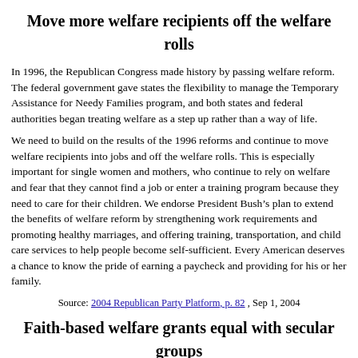Move more welfare recipients off the welfare rolls
In 1996, the Republican Congress made history by passing welfare reform. The federal government gave states the flexibility to manage the Temporary Assistance for Needy Families program, and both states and federal authorities began treating welfare as a step up rather than a way of life.
We need to build on the results of the 1996 reforms and continue to move welfare recipients into jobs and off the welfare rolls. This is especially important for single women and mothers, who continue to rely on welfare and fear that they cannot find a job or enter a training program because they need to care for their children. We endorse President Bush’s plan to extend the benefits of welfare reform by strengthening work requirements and promoting healthy marriages, and offering training, transportation, and child care services to help people become self-sufficient. Every American deserves a chance to know the pride of earning a paycheck and providing for his or her family.
Source: 2004 Republican Party Platform, p. 82 , Sep 1, 2004
Faith-based welfare grants equal with secular groups
We applaud President Bush’s efforts to promote the generous and compassionate work of America’s faith-based and neighborhood charities. The President established the Office of Faith-Based and Community Initiatives to coordinate federal, state, and local efforts to tear down barriers that have prevented religiously affiliated